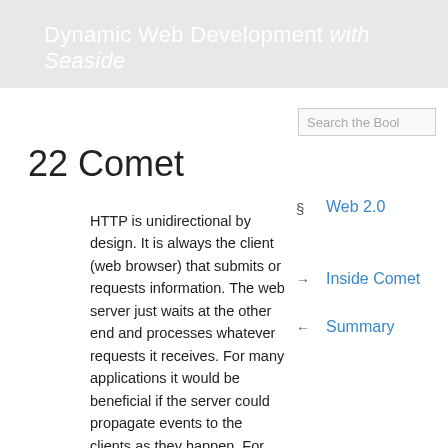Dynamic Web Development with Seaside
22 Comet
§  Web 2.0
→  Inside Comet
←  Summary
HTTP is unidirectional by design. It is always the client (web browser) that submits or requests information. The web server just waits at the other end and processes whatever requests it receives. For many applications it would be beneficial if the server could propagate events to the clients as they happen. For example a chat application would like to push new messages to all connected users, or our todo application would like to push